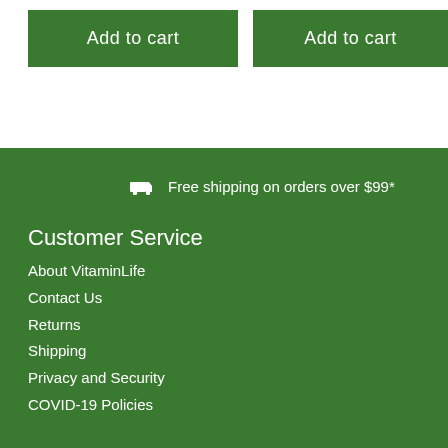[Figure (screenshot): Two green 'Add to cart' buttons on white background]
Free shipping on orders over $99*
Customer Service
About VitaminLife
Contact Us
Returns
Shipping
Privacy and Security
COVID-19 Policies